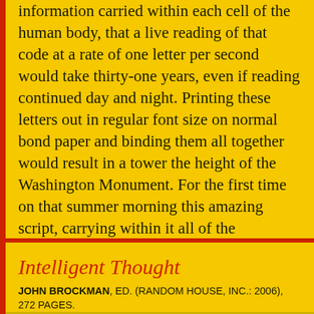information carried within each cell of the human body, that a live reading of that code at a rate of one letter per second would take thirty-one years, even if reading continued day and night. Printing these letters out in regular font size on normal bond paper and binding them all together would result in a tower the height of the Washington Monument. For the first time on that summer morning this amazing script, carrying within it all of the instructions for building a human being, was available to the world. Go
IN CREATION AND DESIGN, EVOLUTION
Intelligent Thought
JOHN BROCKMAN, ED. (RANDOM HOUSE, INC.: 2006), 272 PAGES.